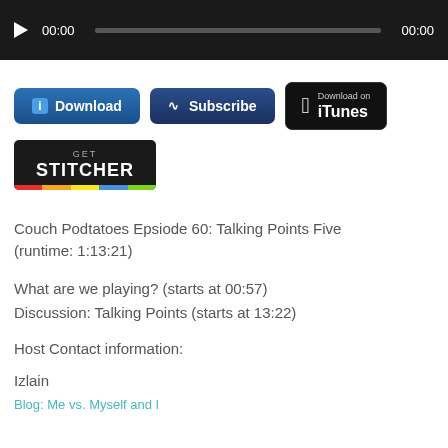[Figure (screenshot): Audio player bar with play button, 00:00 time display, progress bar, and 00:00 end time on dark background]
[Figure (screenshot): Download button (blue gradient), Subscribe button (dark blue gradient), Download on iTunes button (black with Apple logo), and Get Stitcher button (black with colorful bottom bar)]
Couch Podtatoes Epsiode 60: Talking Points Five (runtime: 1:13:21)
What are we playing? (starts at 00:57)
Discussion: Talking Points (starts at 13:22)
Host Contact information:
Izlain
Blog: Me vs. Myself and I